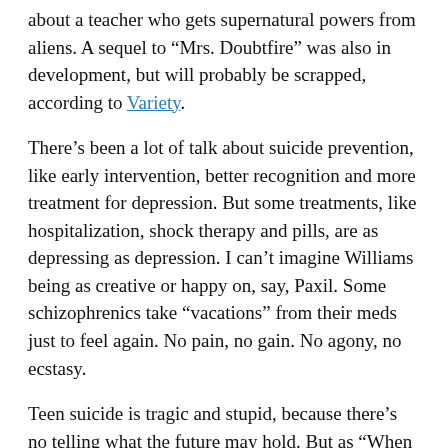about a teacher who gets supernatural powers from aliens. A sequel to “Mrs. Doubtfire” was also in development, but will probably be scrapped, according to Variety.
There’s been a lot of talk about suicide prevention, like early intervention, better recognition and more treatment for depression. But some treatments, like hospitalization, shock therapy and pills, are as depressing as depression. I can’t imagine Williams being as creative or happy on, say, Paxil. Some schizophrenics take “vacations” from their meds just to feel again. No pain, no gain. No agony, no ecstasy.
Teen suicide is tragic and stupid, because there’s no telling what the future may hold. But as “When I’m 64” becomes more than a song, the future begins to narrow. Williams lived a fuller life than most of us could ever dream, and achieved in one truncated lifetime more than most of us could accomplish in a dozen. He surely had more great performances in him, but he had brought so much joy to the